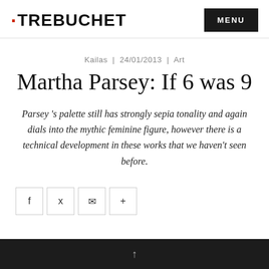TREBUCHET | MENU
Kailas | 24/01/2013 | Art
Martha Parsey: If 6 was 9
Parsey 's palette still has strongly sepia tonality and again dials into the mythic feminine figure, however there is a technical development in these works that we haven't seen before.
[Figure (other): Social sharing buttons: Facebook (f), Twitter (bird), Email (envelope), More (+)]
[Figure (photo): Dark-toned photograph partially visible at the bottom of the page, appears to show a figure with an upward-pointing arrow or light above.]